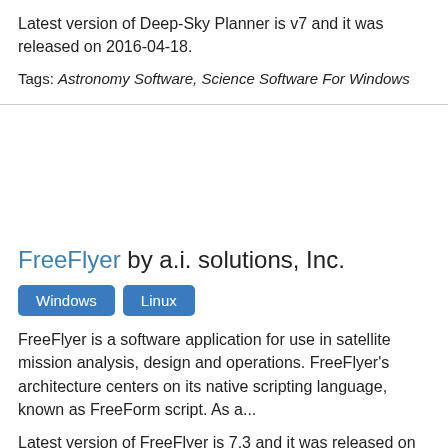Latest version of Deep-Sky Planner is v7 and it was released on 2016-04-18.
Tags: Astronomy Software, Science Software For Windows
FreeFlyer by a.i. solutions, Inc.
Windows   Linux
FreeFlyer is a software application for use in satellite mission analysis, design and operations. FreeFlyer's architecture centers on its native scripting language, known as FreeForm script. As a...
Latest version of FreeFlyer is 7.3 and it was released on {{start date and age|2017|9}}.
Tags: 3d Graphics Software, Aerospace Engineering Software, Astronomy Software, Mathematical Software, Physics Software, Science Software For Windows